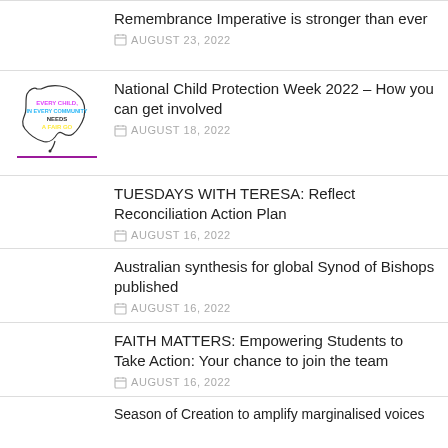Remembrance Imperative is stronger than ever
AUGUST 23, 2022
National Child Protection Week 2022 – How you can get involved
AUGUST 18, 2022
TUESDAYS WITH TERESA: Reflect Reconciliation Action Plan
AUGUST 16, 2022
Australian synthesis for global Synod of Bishops published
AUGUST 16, 2022
FAITH MATTERS: Empowering Students to Take Action: Your chance to join the team
AUGUST 16, 2022
Season of Creation to amplify marginalised voices
AUGUST 15, 2022
Program holds special place in Sam's heart